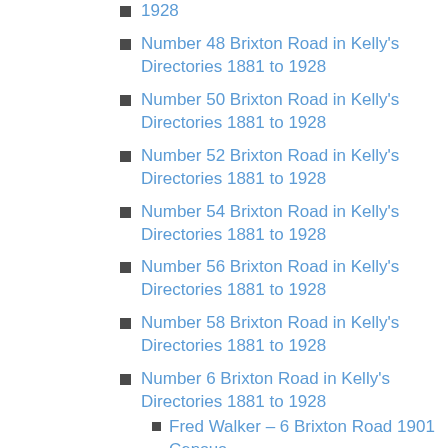1928
Number 48 Brixton Road in Kelly's Directories 1881 to 1928
Number 50 Brixton Road in Kelly's Directories 1881 to 1928
Number 52 Brixton Road in Kelly's Directories 1881 to 1928
Number 54 Brixton Road in Kelly's Directories 1881 to 1928
Number 56 Brixton Road in Kelly's Directories 1881 to 1928
Number 58 Brixton Road in Kelly's Directories 1881 to 1928
Number 6 Brixton Road in Kelly's Directories 1881 to 1928
Fred Walker – 6 Brixton Road 1901 Census
Number 60 Brixton Road in